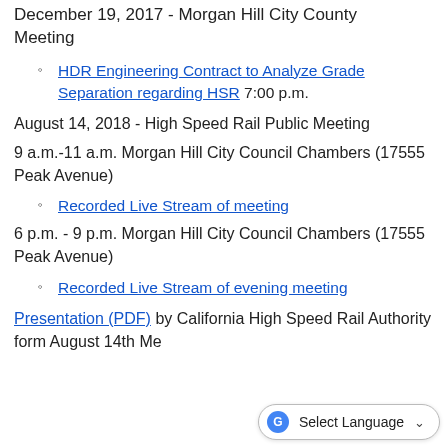December 19, 2017 - Morgan Hill City County Meeting
HDR Engineering Contract to Analyze Grade Separation regarding HSR 7:00 p.m.
August 14, 2018 - High Speed Rail Public Meeting
9 a.m.-11 a.m. Morgan Hill City Council Chambers (17555 Peak Avenue)
Recorded Live Stream of meeting
6 p.m. - 9 p.m. Morgan Hill City Council Chambers (17555 Peak Avenue)
Recorded Live Stream of evening meeting
Presentation (PDF) by California High Speed Rail Authority form August 14th Me...